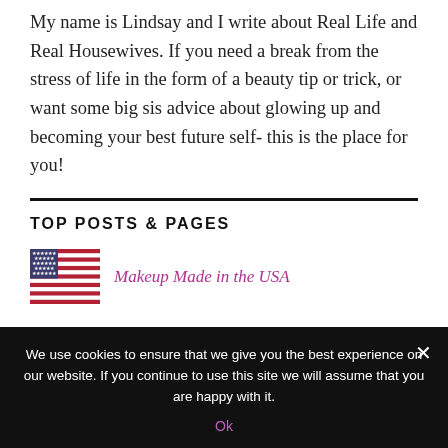My name is Lindsay and I write about Real Life and Real Housewives. If you need a break from the stress of life in the form of a beauty tip or trick, or want some big sis advice about glowing up and becoming your best future self- this is the place for you!
TOP POSTS & PAGES
[Figure (photo): Small thumbnail of an American flag (red, white, blue stripes and stars)]
Makeup Made in the USA
We use cookies to ensure that we give you the best experience on our website. If you continue to use this site we will assume that you are happy with it.
Ok